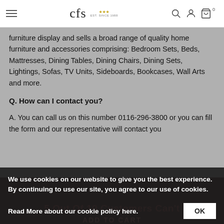cfs Est. Since 1988
furniture display and sells a broad range of quality home furniture and accessories comprising: Bedroom Sets, Beds, Mattresses, Dining Tables, Dining Chairs, Dining Sets, Lightings, Sofas, TV Units, Sideboards, Bookcases, Wall Arts and more.
Q. How can I contact you?
A. You can call us on this number 0116-296-3800 or you can fill the form and our representative will contact you
We use cookies on our website to give you the best experience. By continuing to use our site, you agree to our use of cookies. Read More about our cookie policy here.